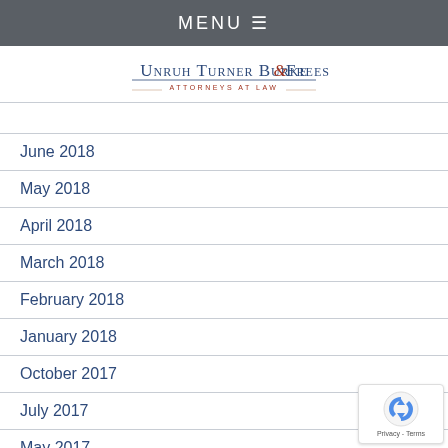MENU ☰
[Figure (logo): Unruh Turner Burke & Frees Attorneys at Law logo]
June 2018
May 2018
April 2018
March 2018
February 2018
January 2018
October 2017
July 2017
May 2017